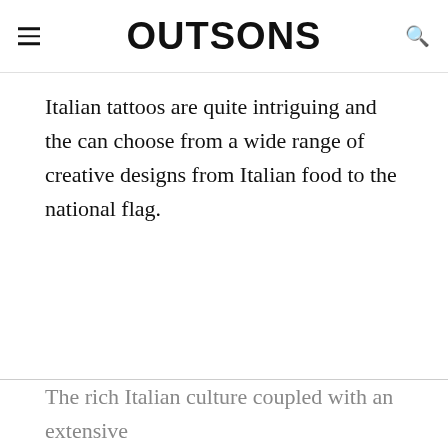OUTSONS
Italian tattoos are quite intriguing and the can choose from a wide range of creative designs from Italian food to the national flag.
The rich Italian culture coupled with an extensive